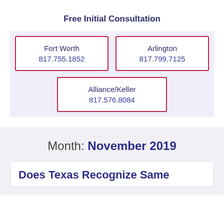Free Initial Consultation
Fort Worth
817.755.1852
Arlington
817.799.7125
Alliance/Keller
817.576.8084
Month: November 2019
Does Texas Recognize Same